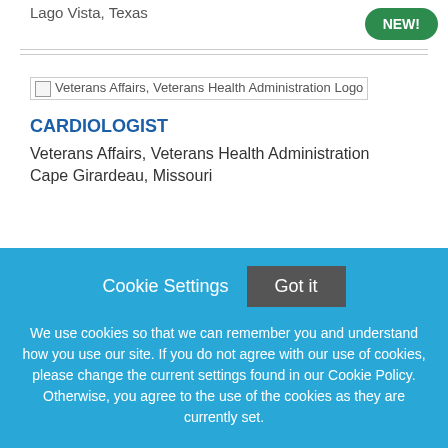Lago Vista, Texas
NEW!
[Figure (logo): Veterans Affairs, Veterans Health Administration Logo]
CARDIOLOGIST
Veterans Affairs, Veterans Health Administration
Cape Girardeau, Missouri
Cookie Settings  Got it
We use cookies so that we can remember you and understand how you use our site. If you do not agree with our use of cookies, please change the current settings found in our Cookie Policy. Otherwise, you agree to the use of the cookies as they are currently set.